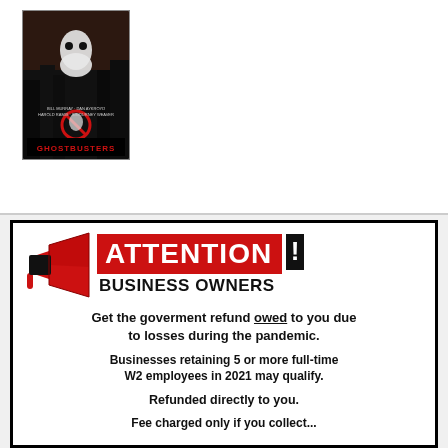[Figure (photo): Ghostbusters movie poster thumbnail in top-left area]
[Figure (infographic): Attention Business Owners advertisement with megaphone graphic, red ATTENTION! banner, and text about government pandemic refund for businesses retaining 5 or more full-time W2 employees in 2021]
Get the goverment refund owed to you due to losses during the pandemic.
Businesses retaining 5 or more full-time W2 employees in 2021 may qualify.
Refunded directly to you.
Fee charged only if you collect...